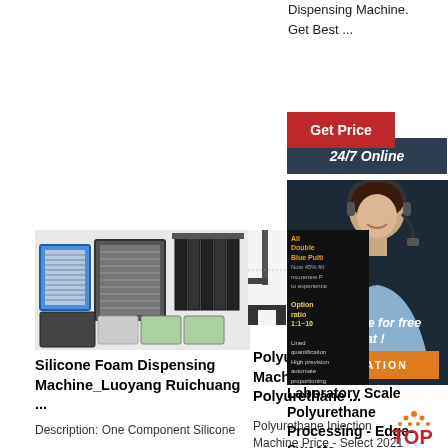Dispensing Machine. Get Best ...
Get Price
24/7 Online
[Figure (photo): Woman with headset customer support agent]
Click here for free chat !
QUOTATION
[Figure (photo): Product advertisement for double blue pulti dispenser with mixing ratio 1:1~10]
[Figure (photo): Various air filters and filter products grouped together]
Silicone Foam Dispensing Machine_Luoyang Ruichuang ...
Description: One Component Silicone
[Figure (photo): Polyurethane injection machine diagram showing cross-section profile]
Polyurethane Injection Machine Price, 2021 Polyurethane ...
Polyurethane Injection Machine Price - Select 2021 high quality
Laboratory Scale Polyurethane Processing - Edge-Sweets